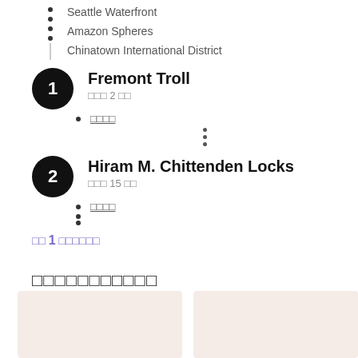Seattle Waterfront
Amazon Spheres
Chinatown International District
Fremont Troll
□□□ 2 □□
□□□□
Hiram M. Chittenden Locks
□□□ 15 □□
□□□□
□□ 1 □□□□□□
□□□□□□□□□□□
[Figure (photo): Two image placeholders at bottom of page with pinkish-beige background]